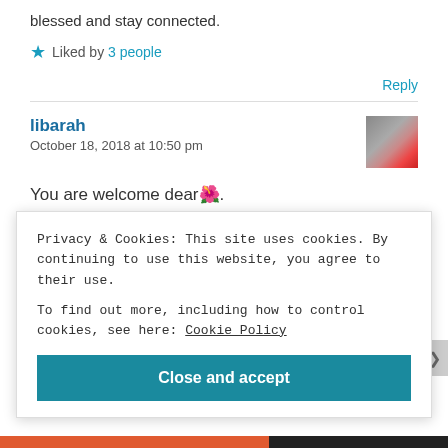blessed and stay connected.
★ Liked by 3 people
Reply
libarah
October 18, 2018 at 10:50 pm
You are welcome dear 🌺.
Privacy & Cookies: This site uses cookies. By continuing to use this website, you agree to their use.
To find out more, including how to control cookies, see here: Cookie Policy
Close and accept